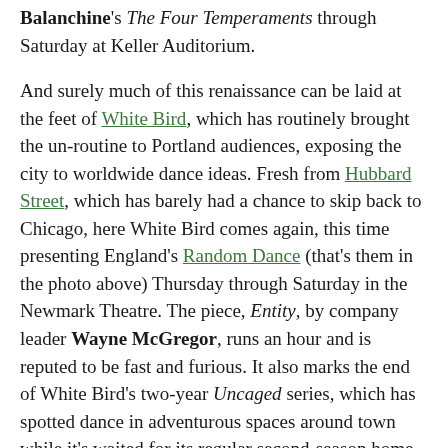Balanchine's The Four Temperaments through Saturday at Keller Auditorium.
And surely much of this renaissance can be laid at the feet of White Bird, which has routinely brought the un-routine to Portland audiences, exposing the city to worldwide dance ideas. Fresh from Hubbard Street, which has barely had a chance to skip back to Chicago, here White Bird comes again, this time presenting England's Random Dance (that's them in the photo above) Thursday through Saturday in the Newmark Theatre. The piece, Entity, by company leader Wayne McGregor, runs an hour and is reputed to be fast and furious. It also marks the end of White Bird's two-year Uncaged series, which has spotted dance in adventurous spaces around town while it's waited for its regular second-season home, Lincoln Performance Hall, to be refurbished. That'll be done by the start of next season.
But write at length on the same theme as info for forming OPT...